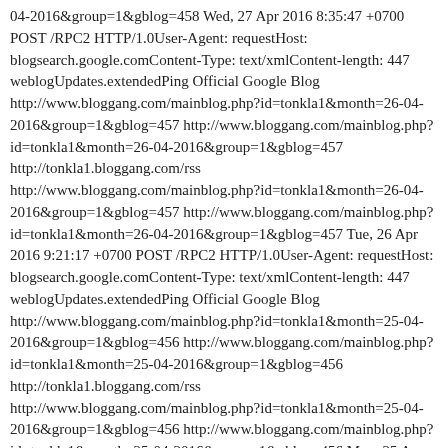04-2016&group=1&gblog=458 Wed, 27 Apr 2016 8:35:47 +0700 POST /RPC2 HTTP/1.0User-Agent: requestHost: blogsearch.google.comContent-Type: text/xmlContent-length: 447 weblogUpdates.extendedPing Official Google Blog http://www.bloggang.com/mainblog.php?id=tonkla1&month=26-04-2016&group=1&gblog=457 http://www.bloggang.com/mainblog.php?id=tonkla1&month=26-04-2016&group=1&gblog=457 http://tonkla1.bloggang.com/rss http://www.bloggang.com/mainblog.php?id=tonkla1&month=26-04-2016&group=1&gblog=457 http://www.bloggang.com/mainblog.php?id=tonkla1&month=26-04-2016&group=1&gblog=457 Tue, 26 Apr 2016 9:21:17 +0700 POST /RPC2 HTTP/1.0User-Agent: requestHost: blogsearch.google.comContent-Type: text/xmlContent-length: 447 weblogUpdates.extendedPing Official Google Blog http://www.bloggang.com/mainblog.php?id=tonkla1&month=25-04-2016&group=1&gblog=456 http://www.bloggang.com/mainblog.php?id=tonkla1&month=25-04-2016&group=1&gblog=456 http://tonkla1.bloggang.com/rss http://www.bloggang.com/mainblog.php?id=tonkla1&month=25-04-2016&group=1&gblog=456 http://www.bloggang.com/mainblog.php?id=tonkla1&month=25-04-2016&group=1&gblog=456 Mon, 25 Apr 2016 8:43:26 +0700 POST /RPC2 HTTP/1.0User-Agent: requestHost: blogsearch.google.comContent-Type: text/xmlContent-length: 447 weblogUpdates.extendedPing Official Google Blog